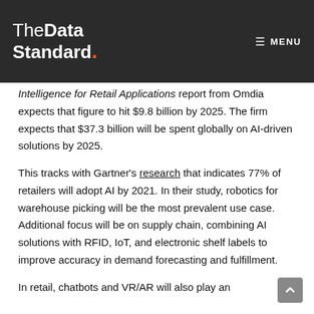TheDataStandard. MENU
Intelligence for Retail Applications report from Omdia expects that figure to hit $9.8 billion by 2025. The firm expects that $37.3 billion will be spent globally on AI-driven solutions by 2025.
This tracks with Gartner's research that indicates 77% of retailers will adopt AI by 2021. In their study, robotics for warehouse picking will be the most prevalent use case. Additional focus will be on supply chain, combining AI solutions with RFID, IoT, and electronic shelf labels to improve accuracy in demand forecasting and fulfillment.
In retail, chatbots and VR/AR will also play an